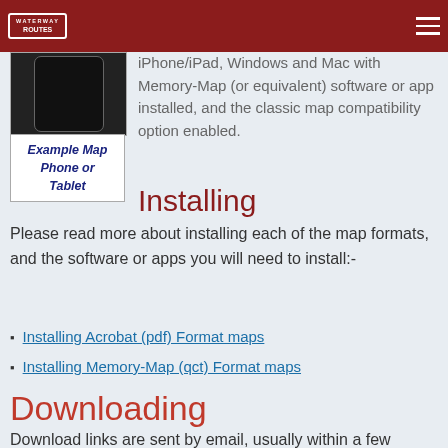WATERWAY ROUTES
[Figure (illustration): Phone/tablet device icon in black]
Example Map Phone or Tablet
iPhone/iPad, Windows and Mac with Memory-Map (or equivalent) software or app installed, and the classic map compatibility option enabled.
Installing
Please read more about installing each of the map formats, and the software or apps you will need to install:-
Installing Acrobat (pdf) Format maps
Installing Memory-Map (qct) Format maps
Downloading
Download links are sent by email, usually within a few seconds of payment being made and will be valid for